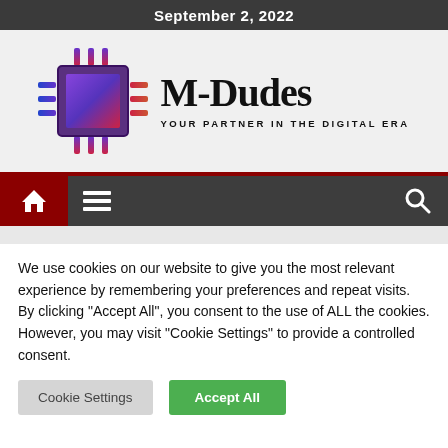September 2, 2022
[Figure (logo): M-Dudes logo with stylized microchip SVG icon and text 'M-Dudes / YOUR PARTNER IN THE DIGITAL ERA']
[Figure (screenshot): Navigation bar with red home icon area, hamburger menu icon, and search icon on dark background]
We use cookies on our website to give you the most relevant experience by remembering your preferences and repeat visits. By clicking “Accept All”, you consent to the use of ALL the cookies. However, you may visit "Cookie Settings" to provide a controlled consent.
Cookie Settings
Accept All